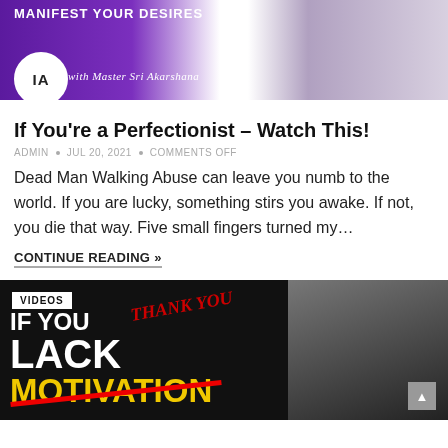[Figure (photo): Promotional banner image with purple background, IA logo circle on left, cursive text 'with Master Sri Akarshana', and figure on right]
If You're a Perfectionist – Watch This!
ADMIN • JUL 20, 2021 • COMMENTS OFF
Dead Man Walking Abuse can leave you numb to the world. If you are lucky, something stirs you awake. If not, you die that way. Five small fingers turned my…
CONTINUE READING »
[Figure (photo): Motivational thumbnail with dark background showing text 'IF YOU LACK MOTIVATION' with MOTIVATION crossed out in red, 'THANK YOU' in red italic, and athlete on right side. VIDEOS badge in top left.]